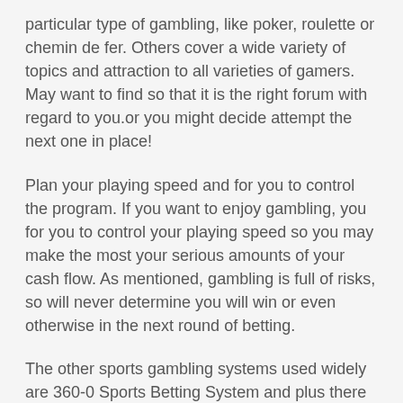particular type of gambling, like poker, roulette or chemin de fer. Others cover a wide variety of topics and attraction to all varieties of gamers. May want to find so that it is the right forum with regard to you.or you might decide attempt the next one in place!
Plan your playing speed and for you to control the program. If you want to enjoy gambling, you for you to control your playing speed so you may make the most your serious amounts of your cash flow. As mentioned, gambling is full of risks, so will never determine you will win or even otherwise in the next round of betting.
The other sports gambling systems used widely are 360-0 Sports Betting System and plus there is also wonderful thing about Gambling Systems who specialize mainly in horse racing betting. With respect to the sport the bookies who pioneer Pg slot the area differ. But what you need to remember Bookies aren't